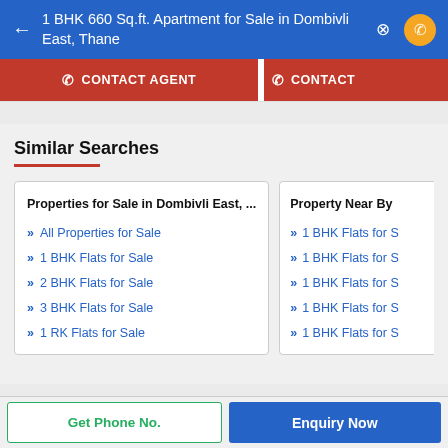1 BHK 660 Sq.ft. Apartment for Sale in Dombivli East, Thane
CONTACT AGENT
CONTACT
Similar Searches
Properties for Sale in Dombivli East, ...
All Properties for Sale
1 BHK Flats for Sale
2 BHK Flats for Sale
3 BHK Flats for Sale
1 RK Flats for Sale
Property Near By
1 BHK Flats for S
1 BHK Flats for S
1 BHK Flats for S
1 BHK Flats for S
1 BHK Flats for S
Get Phone No.
Enquiry Now